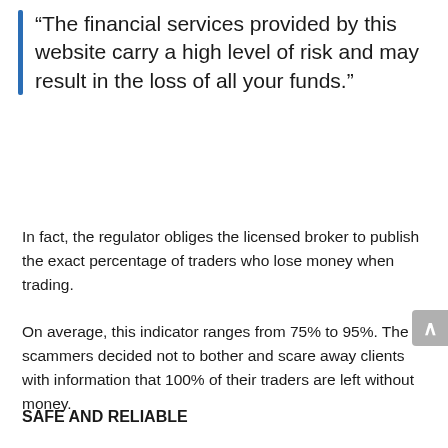“The financial services provided by this website carry a high level of risk and may result in the loss of all your funds.”
In fact, the regulator obliges the licensed broker to publish the exact percentage of traders who lose money when trading.
On average, this indicator ranges from 75% to 95%. The scammers decided not to bother and scare away clients with information that 100% of their traders are left without money.
SAFE AND RELIABLE